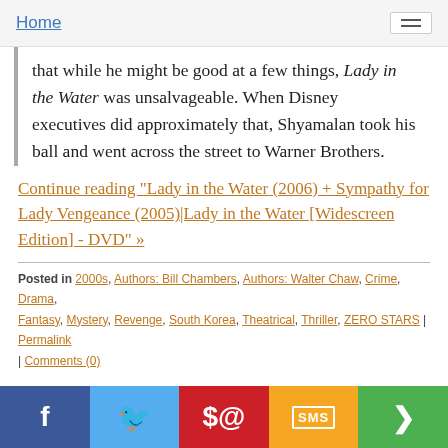Home
that while he might be good at a few things, Lady in the Water was unsalvageable. When Disney executives did approximately that, Shyamalan took his ball and went across the street to Warner Brothers.
Continue reading "Lady in the Water (2006) + Sympathy for Lady Vengeance (2005)|Lady in the Water [Widescreen Edition] - DVD" »
Posted in 2000s, Authors: Bill Chambers, Authors: Walter Chaw, Crime, Drama, Fantasy, Mystery, Revenge, South Korea, Theatrical, Thriller, ZERO STARS | Permalink | Comments (0)
September 26, 2006
Three... Extremes (2005) + Hellbent (2005) - DVDs